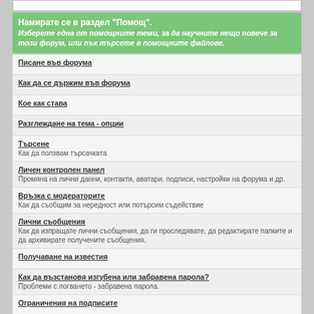Намирате се в раздел "Помощ". Изберете една от помощните теми, за да научните нещо повече за този форум, или пък търсете в помощните файлове.
Писане във форума
Как да се държим във форума
Кое как става
Разглеждане на тема - опции
Търсене
Как да ползвам търсачката
Личен контролен панел
Промяна на лични данни, контакти, аватари, подписи, настройки на форума и др.
Връзка с модераторите
Как да съобщим за нередност или потърсим съдействие
Лични съобщения
Как да изпращате лични съобщения, да ги проследявате, да редактирате папките и да архивирате получените съобщения.
Получаване на известия
Как да възстановя изгубена или забравена парола?
Проблеми с логването - забравена парола.
Ограничения на подписите
Права за писане
Календар